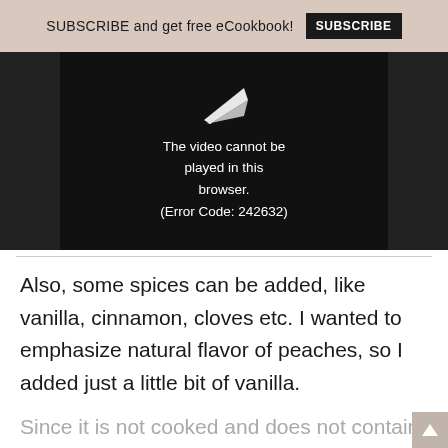SUBSCRIBE and get free eCookbook! SUBSCRIBE
[Figure (screenshot): Video player showing error: 'The video cannot be played in this browser. (Error Code: 242632)']
Also, some spices can be added, like vanilla, cinnamon, cloves etc. I wanted to emphasize natural flavor of peaches, so I added just a little bit of vanilla.
Since it is not cooked and does not contain any sugar, Peach Chia Jam cannot be kept for long